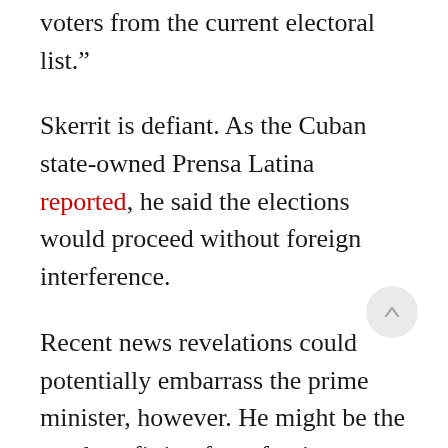voters from the current electoral list.”
Skerrit is defiant. As the Cuban state-owned Prensa Latina reported, he said the elections would proceed without foreign interference.
Recent news revelations could potentially embarrass the prime minister, however. He might be the one benefitting from foreign friends